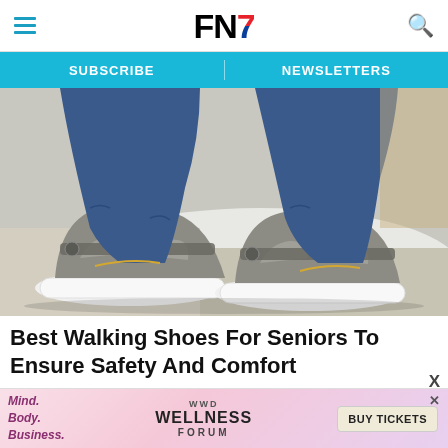FN7 — Footwear News header with hamburger menu and search icon
SUBSCRIBE | NEWSLETTERS
[Figure (photo): Close-up photo of a person wearing gray walking shoes/sneakers with white soles, ankle strap closure, and cutout detailing. The person is wearing blue jeans and a gold anklet. The shoes are photographed on a light stone/tile surface with a white fluffy rug in the background.]
Best Walking Shoes For Seniors To Ensure Safety And Comfort
The promotion ends as soon as the reduced models are s...
[Figure (infographic): Advertisement banner for WWD Wellness Forum with text 'Mind. Body. Business.' on the left, 'WWD WELLNESS FORUM' in the center, and a 'BUY TICKETS' button on the right.]